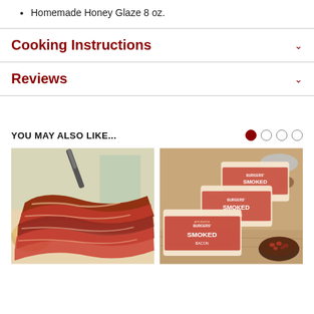Homemade Honey Glaze 8 oz.
Cooking Instructions
Reviews
YOU MAY ALSO LIKE...
[Figure (photo): Crispy strips of bacon being lifted with a fork, with a biscuit and green herbs in the background]
[Figure (photo): Multiple packages of Burgers' Smokehouse Applewood Smoked Bacon arranged on a wooden surface with a bowl of beans and a metal scoop]